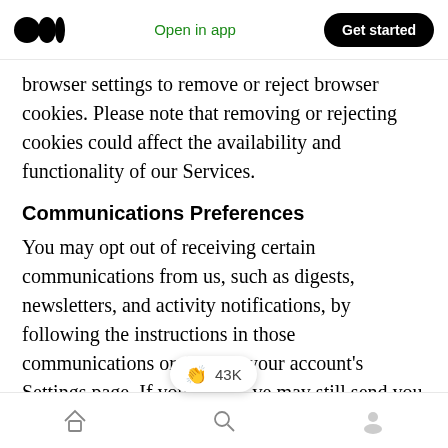Open in app | Get started
browser settings to remove or reject browser cookies. Please note that removing or rejecting cookies could affect the availability and functionality of our Services.
Communications Preferences
You may opt out of receiving certain communications from us, such as digests, newsletters, and activity notifications, by following the instructions in those communications or through your account's Settings page. If you ve may still send you administrative emails, such as those about
Home | Search | Profile